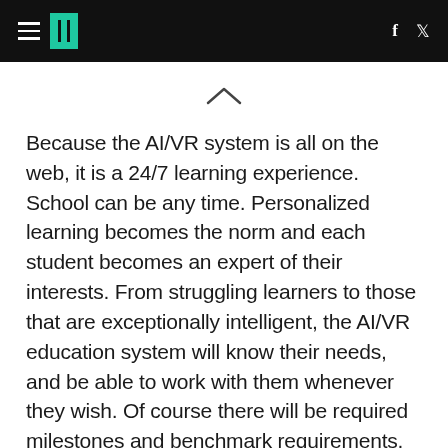HuffPost navigation header with logo and social icons (f, Twitter)
Because the AI/VR system is all on the web, it is a 24/7 learning experience. School can be any time. Personalized learning becomes the norm and each student becomes an expert of their interests. From struggling learners to those that are exceptionally intelligent, the AI/VR education system will know their needs, and be able to work with them whenever they wish. Of course there will be required milestones and benchmark requirements. But time becomes a non-issue. Your grade level, 1st, 2nd, 11th, means nothing. You move at your pace because your AI/VR